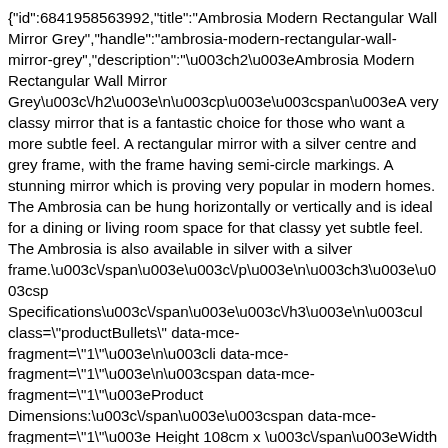{"id":6841958563992,"title":"Ambrosia Modern Rectangular Wall Mirror Grey","handle":"ambrosia-modern-rectangular-wall-mirror-grey","description":"\u003ch2\u003eAmbrosia Modern Rectangular Wall Mirror Grey\u003c\/h2\u003e\n\u003cp\u003e\u003cspan\u003eA very classy mirror that is a fantastic choice for those who want a more subtle feel. A rectangular mirror with a silver centre and grey frame, with the frame having semi-circle markings. A stunning mirror which is proving very popular in modern homes. The Ambrosia can be hung horizontally or vertically and is ideal for a dining or living room space for that classy yet subtle feel. The Ambrosia is also available in silver with a silver frame.\u003c\/span\u003e\u003c\/p\u003e\n\u003ch3\u003e\u003csp Specifications\u003c\/span\u003e\u003c\/h3\u003e\n\u003cul class=\"productBullets\" data-mce-fragment=\"1\"\u003e\n\u003cli data-mce-fragment=\"1\"\u003e\n\u003cspan data-mce-fragment=\"1\"\u003eProduct Dimensions:\u003c\/span\u003e\u003cspan data-mce-fragment=\"1\"\u003e Height 108cm x \u003c\/span\u003eWidth 77cm x Depth 2cm\u003c\/li\u003e\n\u003cli data-mce-fragment=\"1\"\u003e\u003cspan data-mce-fragment=\"1\"\u003eProduct Weight: 15 kg\u003cbr data-mce-fragment=\"1\"\u003e\u003c\/span\u003e\u003c\/li\u003e\n\u003cli data-mce-fragment=\"1\"\u003e\n\u003cspan data-mce-fragment=\"1\"\u003eType of